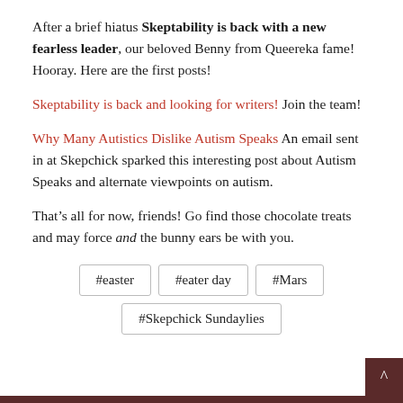After a brief hiatus Skeptability is back with a new fearless leader, our beloved Benny from Queereka fame! Hooray. Here are the first posts!
Skeptability is back and looking for writers! Join the team!
Why Many Autistics Dislike Autism Speaks An email sent in at Skepchick sparked this interesting post about Autism Speaks and alternate viewpoints on autism.
That’s all for now, friends! Go find those chocolate treats and may force and the bunny ears be with you.
#easter
#eater day
#Mars
#Skepchick Sundaylies